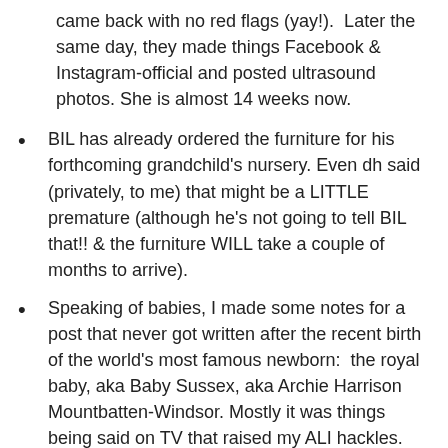came back with no red flags (yay!).  Later the same day, they made things Facebook & Instagram-official and posted ultrasound photos. She is almost 14 weeks now.
BIL has already ordered the furniture for his forthcoming grandchild's nursery. Even dh said (privately, to me) that might be a LITTLE premature (although he's not going to tell BIL that!! & the furniture WILL take a couple of months to arrive).
Speaking of babies, I made some notes for a post that never got written after the recent birth of the world's most famous newborn:  the royal baby, aka Baby Sussex, aka Archie Harrison Mountbatten-Windsor. Mostly it was things being said on TV that raised my ALI hackles. On CBC News Network, one middle-aged female host commented on why Meghan might have wanted to hold off on the first public appearance, saying, "Ladies, you ALL know what I'm talking about!"